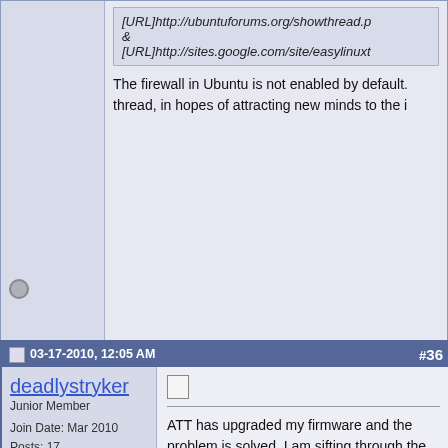[URL]http://ubuntuforums.org/showthread.p
&
[URL]http://sites.google.com/site/easylinuxt
The firewall in Ubuntu is not enabled by default. thread, in hopes of attracting new minds to the i
03-17-2010, 12:05 AM    #36
deadlystryker
Junior Member
Join Date: Mar 2010
Posts: 17
ATT has upgraded my firmware and the problem is solved. I am sifting through the new configuration page to see what might have changed.
03-18-2010, 03:12 PM    #37
Fonzie311
Junior Member
Join Date: Mar 2010
Posts: 20
lol glad to here.